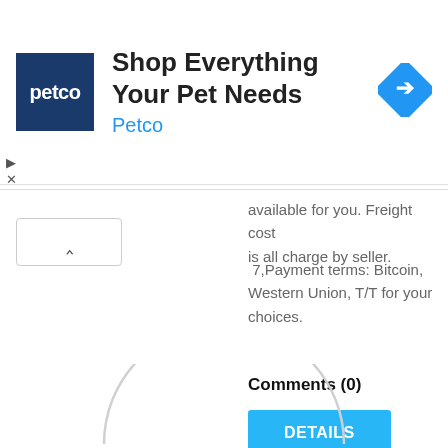[Figure (screenshot): Advertisement banner for Petco showing blue square logo with 'petco' text, headline 'Shop Everything Your Pet Needs', brand name 'Petco' in blue, and a blue diamond navigation icon on the right]
available for you. Freight cost is all charge by seller.
7,Payment terms: Bitcoin, Western Union, T/T for your choices.
Comments (0)
[Figure (other): DETAILS button in sky blue]
[Figure (other): Partial circular user avatar icon at bottom of page]